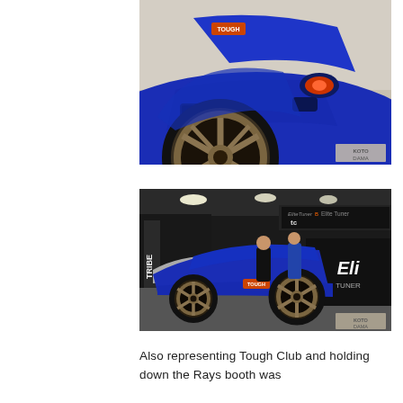[Figure (photo): Close-up front view of a blue Mazda RX-7 with bronze RAYS wheels and a TOUGH sticker, shot at an indoor car show. KOTODAMA watermark in bottom right.]
[Figure (photo): Wide shot of a blue Mazda RX-7 at an indoor car show booth. Elite Tuner banners visible in background, people standing around the car. TOUGH sticker on car door. KOTODAMA watermark in bottom right.]
Also representing Tough Club and holding down the Rays booth was